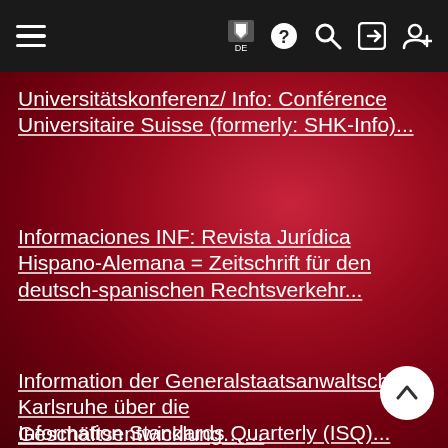Navigation bar with hamburger menu and icons: flag DE, help, search, login, register
Universitätskonferenz/ Info: Conférence Universitaire Suisse (formerly: SHK-Info)...
Informaciones INF: Revista Jurídica Hispano-Alemana = Zeitschrift für den deutsch-spanischen Rechtsverkehr...
Information der Generalstaatsanwaltschaft Karlsruhe über die Geschäftsentwicklung……
Information Standards Quarterly (ISQ)...